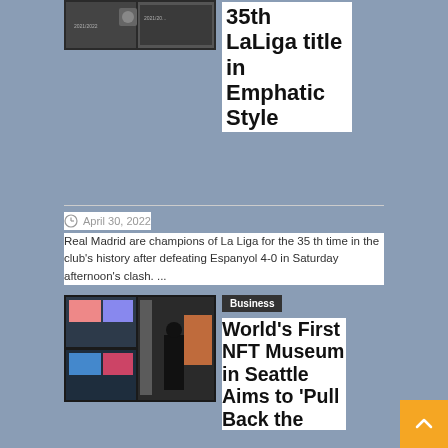[Figure (photo): Sports photo showing Real Madrid banner with 2021/2022 season text]
35th LaLiga title in Emphatic Style
April 30, 2022
Real Madrid are champions of La Liga for the 35 th time in the club's history after defeating Espanyol 4-0 in Saturday afternoon's clash. ...
[Figure (photo): Person photographing NFT artwork displays at museum with screens showing digital art]
Business
World's First NFT Museum in Seattle Aims to 'Pull Back the